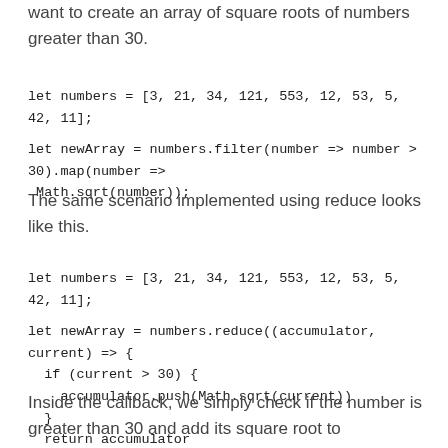want to create an array of square roots of numbers greater than 30.
let numbers = [3, 21, 34, 121, 553, 12, 53, 5, 42, 11];

let newArray = numbers.filter(number => number > 30).map(number => Math.sqrt(number));
The same scenario implemented using reduce looks like this.
let numbers = [3, 21, 34, 121, 553, 12, 53, 5, 42, 11];

let newArray = numbers.reduce((accumulator, current) => {
  if (current > 30) {
    accumulator.push(Math.sqrt(current))
  }
  return accumulator
}, []);
Inside the callback, we simply check if the number is greater than 30 and add its square root to